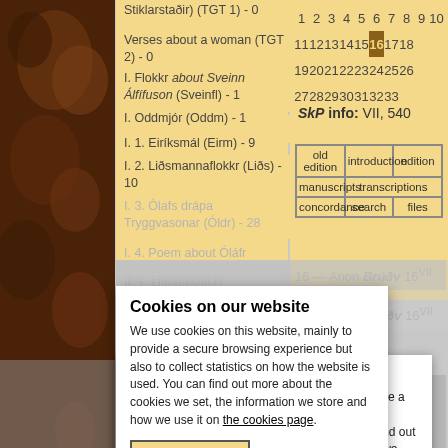Stiklarstaðir) (TGT 1) - 0
Verses about a woman (TGT 2) - 0
I. Flokkr about Sveinn Álfífuson (Sveinfl) - 1
I. Oddmjór (Oddm) - 1
I. 1. Eiríksmál (Eirm) - 9
I. 2. Liðsmannaflokkr (Liðs) - 10
I. 3. Ólafs drápa Tryggvasonar (Óldr) - 28
I. 4. Poem about Óláfr
| 1 | 2 | 3 | 4 | 5 | 6 | 7 | 8 | 9 | 10 |
| 11 | 12 | 13 | 14 | 15 | 16 | 17 | 18 |
| 19 | 20 | 21 | 22 | 23 | 24 | 25 | 26 |
| 27 | 28 | 29 | 30 | 31 | 32 | 33 |
SkP info: VII, 540
| old edition | introduction | edition |
| manuscripts | transcriptions |
| concordance | search | files |
16 — Anon Brúðv 16VII
Cookies on our website
We use cookies on this website, mainly to provide a secure browsing experience but also to collect statistics on how the website is used. You can find out more about the cookies we set, the information we store and how we use it on the cookies page.
II. 1. Haraldsstikki
III. Mánúflokkki (Mfl) - 2
III. Poem about the Phoenix (Phoenix) - 1
Cite as: Valgerður Erna Þorvaldsdóttir (ed.) 2007, 'Anonymous Poems, Brúðkaupsvisur 16' in Margaret Clunies Ross (ed.), Poetry on Christian Subjects, Skaldic Poetry